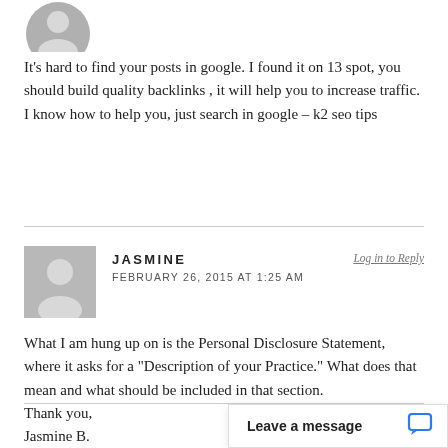[Figure (illustration): Gray avatar/silhouette icon (partial, top of page)]
It's hard to find your posts in google. I found it on 13 spot, you should build quality backlinks , it will help you to increase traffic. I know how to help you, just search in google – k2 seo tips
[Figure (illustration): Gray avatar/silhouette icon for user Jasmine]
JASMINE
FEBRUARY 26, 2015 AT 1:25 AM
Log in to Reply
What I am hung up on is the Personal Disclosure Statement, where it asks for a “Description of your Practice.” What does that mean and what should be included in that section.
Thank you,
Jasmine B.
Leave a message